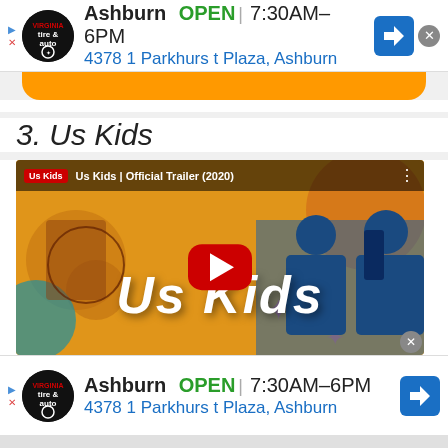[Figure (screenshot): Advertisement banner for Virginia Tire & Auto - Ashburn location. Shows logo, OPEN status, hours 7:30AM-6PM, address 4378 1 Parkhurst Plaza Ashburn, direction icon.]
3. Us Kids
[Figure (screenshot): YouTube video thumbnail for 'Us Kids | Official Trailer (2020)' showing the Us Kids title in large white italic text over an orange illustrated background, with a red YouTube play button in the center and two girls singing/chanting on the right side.]
[Figure (screenshot): Second advertisement banner for Virginia Tire & Auto - Ashburn location. Shows logo, OPEN status, hours 7:30AM-6PM, address 4378 1 Parkhurst Plaza Ashburn, direction icon.]